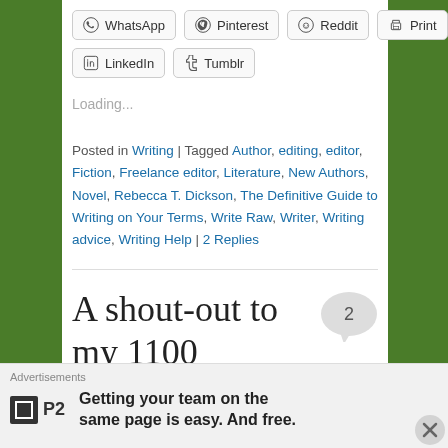[Figure (screenshot): Social sharing buttons row 1: WhatsApp, Pinterest, Reddit, Print]
[Figure (screenshot): Social sharing buttons row 2: LinkedIn, Tumblr]
Loading...
Posted in Writing | Tagged Author, editing, editor, Fiction, Freelance editor, Literature, New Authors, Novel, Rebecca T. Dickson, The Definitive Guide to Writing on Your Terms, Write Raw, Writer, Writing advice, Writing Help | 2 Replies
A shout-out to my 1100 followers and a request to my readers!
Advertisements
Getting your team on the same page is easy. And free.